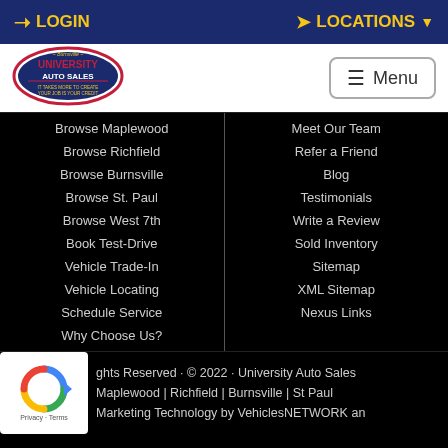LOGIN | LOCATIONS
[Figure (logo): University Auto Sales oval logo with red and blue colors]
Browse Maplewood
Browse Richfield
Browse Burnsville
Browse St. Paul
Browse West 7th
Book Test-Drive
Vehicle Trade-In
Vehicle Locating
Schedule Service
Why Choose Us?
Meet Our Team
Refer a Friend
Blog
Testimonials
Write a Review
Sold Inventory
Sitemap
XML Sitemap
Nexus Links
ghts Reserved · © 2022 · University Auto Sales Maplewood | Richfield | Burnsville | St Paul Marketing Technology by VehiclesNETWORK an